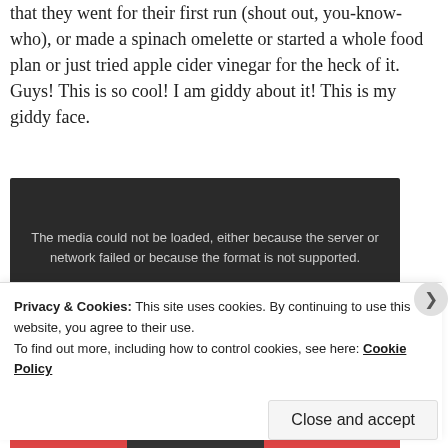getting calls and texts from friends to report that they went for their first run (shout out, you-know-who), or made a spinach omelette or started a whole food plan or just tried apple cider vinegar for the heck of it. Guys! This is so cool! I am giddy about it! This is my giddy face.
[Figure (other): Media player placeholder with dark background showing error message: 'The media could not be loaded, either because the server or network failed or because the format is not supported.']
Privacy & Cookies: This site uses cookies. By continuing to use this website, you agree to their use.
To find out more, including how to control cookies, see here: Cookie Policy
Close and accept